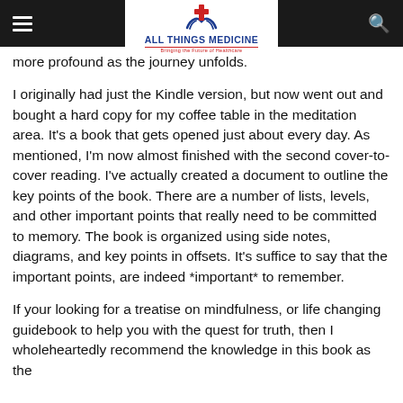All Things Medicine — Bringing the Future of Healthcare (navigation header with logo)
more profound as the journey unfolds.
I originally had just the Kindle version, but now went out and bought a hard copy for my coffee table in the meditation area. It's a book that gets opened just about every day. As mentioned, I'm now almost finished with the second cover-to-cover reading. I've actually created a document to outline the key points of the book. There are a number of lists, levels, and other important points that really need to be committed to memory. The book is organized using side notes, diagrams, and key points in offsets. It's suffice to say that the important points, are indeed *important* to remember.
If your looking for a treatise on mindfulness, or life changing guidebook to help you with the quest for truth, then I wholeheartedly recommend the knowledge in this book as the